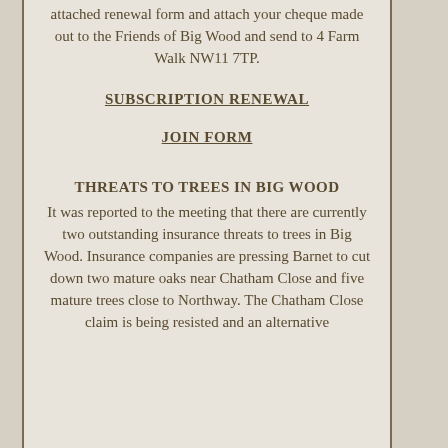attached renewal form and attach your cheque made out to the Friends of Big Wood and send to 4 Farm Walk NW11 7TP.
SUBSCRIPTION RENEWAL
JOIN FORM
THREATS TO TREES IN BIG WOOD
It was reported to the meeting that there are currently two outstanding insurance threats to trees in Big Wood. Insurance companies are pressing Barnet to cut down two mature oaks near Chatham Close and five mature trees close to Northway. The Chatham Close claim is being resisted and an alternative